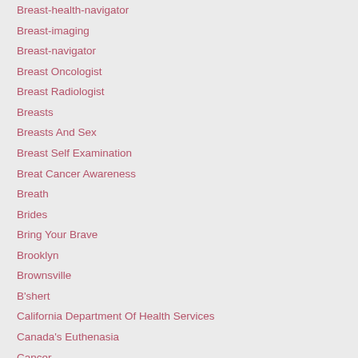Breast-health-navigator
Breast-imaging
Breast-navigator
Breast Oncologist
Breast Radiologist
Breasts
Breasts And Sex
Breast Self Examination
Breat Cancer Awareness
Breath
Brides
Bring Your Brave
Brooklyn
Brownsville
B'shert
California Department Of Health Services
Canada's Euthenasia
Cancer
Cancer And Divorce